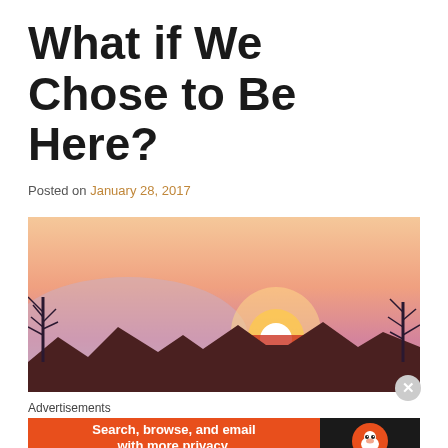What if We Chose to Be Here?
Posted on January 28, 2017
[Figure (photo): Sunset photo showing the sun low on the horizon, with silhouettes of rooftops and bare trees against a pink and orange sky]
Advertisements
[Figure (infographic): DuckDuckGo advertisement banner: orange left section reading 'Search, browse, and email with more privacy. All in One Free App', black right section with DuckDuckGo duck logo and DuckDuckGo text]